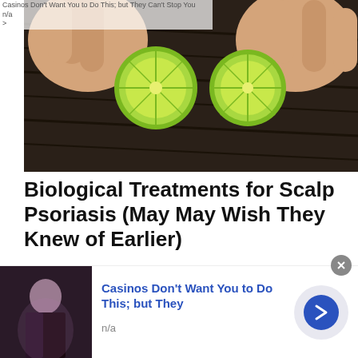Casinos Don't Want You to Do This; but They Can't Stop You
n/a
>
[Figure (photo): Hands pressing lime slices onto a dark background, likely hair, illustrating a scalp treatment concept]
Biological Treatments for Scalp Psoriasis (May May Wish They Knew of Earlier)
Psoriasis | Search Ads | Sponsored
[Figure (photo): Two women with long hair outdoors in warm golden light, one facing camera]
[Figure (photo): Bottom ad: person in dark jacket — Casinos Don't Want You to Do This; but They Can't Stop You, n/a]
Casinos Don't Want You to Do This; but They
n/a